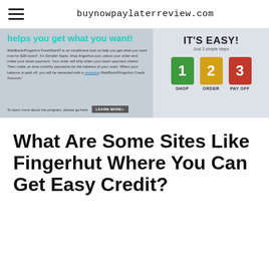buynowpaylaterreview.com
[Figure (screenshot): Fingerhut FreshStart promotional banner showing 'helps you get what you want!' headline in teal, descriptive text about WebBank/Fingerhut FreshStart installment loan, a 'LEARN MORE+' button, and an 'IT'S EASY! Just 3 simple steps' section with colored numbered boxes (1 SHOP, 2 ORDER, 3 PAY OFF)]
What Are Some Sites Like Fingerhut Where You Can Get Easy Credit?